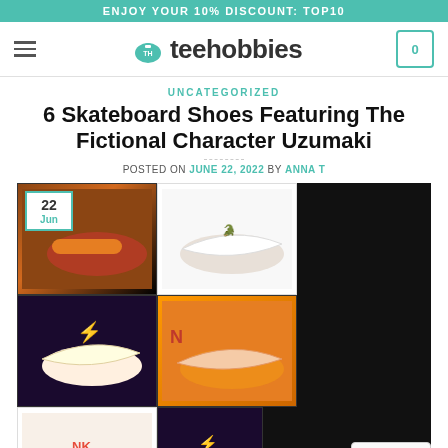ENJOY YOUR 10% DISCOUNT: TOP10
[Figure (logo): teehobbies logo with T-shirt icon and navigation bar with hamburger menu and cart showing 0]
UNCATEGORIZED
6 Skateboard Shoes Featuring The Fictional Character Uzumaki
POSTED ON JUNE 22, 2022 BY ANNA T
[Figure (photo): Grid of 6 skateboard shoes featuring Uzumaki character designs on white and colored backgrounds, with date badge showing 22 Jun and caption '6 Skateboard Shoes Featuring The Fictional Character Uzumaki']